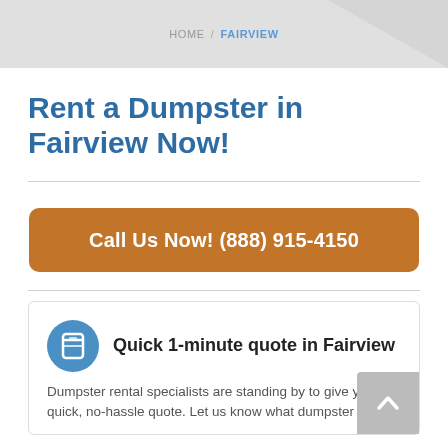HOME / FAIRVIEW
Rent a Dumpster in Fairview Now!
Call Us Now! (888) 915-4150
Quick 1-minute quote in Fairview
Dumpster rental specialists are standing by to give you a quick, no-hassle quote. Let us know what dumpster size